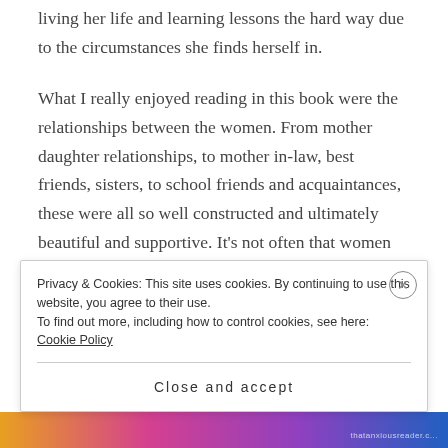living her life and learning lessons the hard way due to the circumstances she finds herself in.
What I really enjoyed reading in this book were the relationships between the women. From mother daughter relationships, to mother in-law, best friends, sisters, to school friends and acquaintances, these were all so well constructed and ultimately beautiful and supportive. It’s not often that women are celebrated in this way, and although the relationships were complicated there was kindness and generosity in each of the characters towards one another. I loved
Privacy & Cookies: This site uses cookies. By continuing to use this website, you agree to their use.
To find out more, including how to control cookies, see here: Cookie Policy
Close and accept